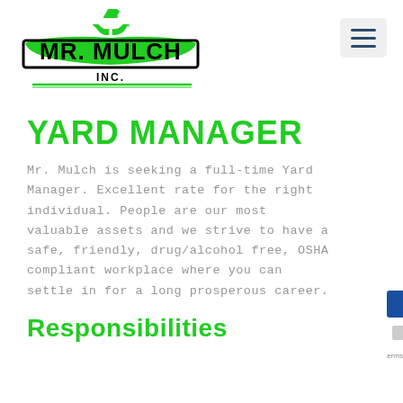[Figure (logo): Mr. Mulch Inc. logo with green recycling arrows symbol above bold black text 'MR. MULCH' and 'INC.' with green border lines]
[Figure (other): Hamburger menu button (three horizontal lines) in a light grey rounded rectangle]
YARD MANAGER
Mr. Mulch is seeking a full-time Yard Manager. Excellent rate for the right individual. People are our most valuable assets and we strive to have a safe, friendly, drug/alcohol free, OSHA compliant workplace where you can settle in for a long prosperous career.
Responsibilities